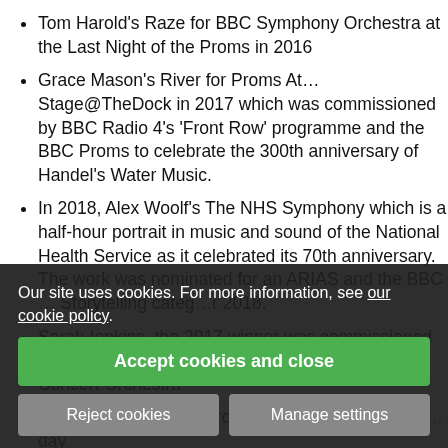Tom Harold's Raze for BBC Symphony Orchestra at the Last Night of the Proms in 2016
Grace Mason's River for Proms At... Stage@TheDock in 2017 which was commissioned by BBC Radio 4's 'Front Row' programme and the BBC Proms to celebrate the 300th anniversary of Handel's Water Music.
In 2018, Alex Woolf's The NHS Symphony which is a half-hour portrait in music and sound of the National Health Service as it celebrated its 70th anniversary. The work was nominated for an ARIAS and the BBC ...[Storytelling category] ... r 2018.
Sarah Ienkins, the 2017 winner was commissioned to w... Concert Orchestra
Alexia ... as ... oncert Orchestra and will be pre... ... r ... day ...
Our site uses cookies. For more information, see our cookie policy.